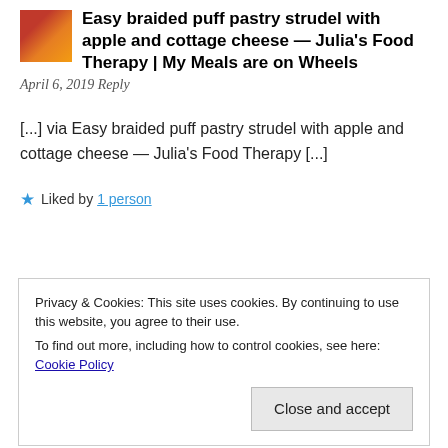Easy braided puff pastry strudel with apple and cottage cheese — Julia's Food Therapy | My Meals are on Wheels
April 6, 2019 Reply
[...] via Easy braided puff pastry strudel with apple and cottage cheese — Julia's Food Therapy [...]
★ Liked by 1 person
Privacy & Cookies: This site uses cookies. By continuing to use this website, you agree to their use.
To find out more, including how to control cookies, see here: Cookie Policy